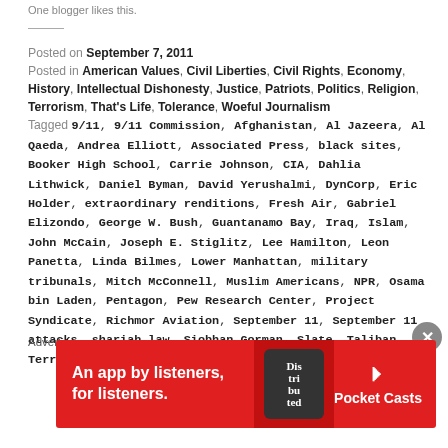One blogger likes this.
Posted on September 7, 2011
Posted in American Values, Civil Liberties, Civil Rights, Economy, History, Intellectual Dishonesty, Justice, Patriots, Politics, Religion, Terrorism, That's Life, Tolerance, Woeful Journalism
Tagged 9/11, 9/11 Commission, Afghanistan, Al Jazeera, Al Qaeda, Andrea Elliott, Associated Press, black sites, Booker High School, Carrie Johnson, CIA, Dahlia Lithwick, Daniel Byman, David Yerushalmi, DynCorp, Eric Holder, extraordinary renditions, Fresh Air, Gabriel Elizondo, George W. Bush, Guantanamo Bay, Iraq, Islam, John McCain, Joseph E. Stiglitz, Lee Hamilton, Leon Panetta, Linda Bilmes, Lower Manhattan, military tribunals, Mitch McConnell, Muslim Americans, NPR, Osama bin Laden, Pentagon, Pew Research Center, Project Syndicate, Richmor Aviation, September 11, September 11 attacks, shariah law, Siobhan Gorman, Slate, Taliban, Terry Gross, Texas football, Thomas ...
Advertisements
[Figure (photo): Pocket Casts advertisement banner: red background with text 'An app by listeners, for listeners.' and Pocket Casts logo with phone graphic showing 'Distributed' text.]